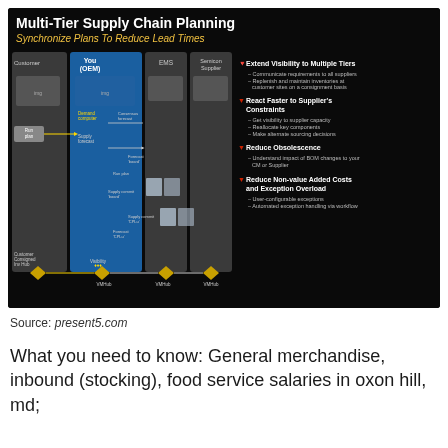[Figure (infographic): Multi-Tier Supply Chain Planning diagram showing customer, OEM, EMS, and Semicon Supplier tiers with flow arrows for demand forecasts, supply commits, and consignment hubs. Title: Multi-Tier Supply Chain Planning, Subtitle: Synchronize Plans To Reduce Lead Times. Right side has 4 bullet sections: Extend Visibility to Multiple Tiers, React Faster to Supplier's Constraints, Reduce Obsolescence, Reduce Non-value Added Costs and Exception Overload.]
Source: present5.com
What you need to know: General merchandise, inbound (stocking), food service salaries in oxon hill, md;